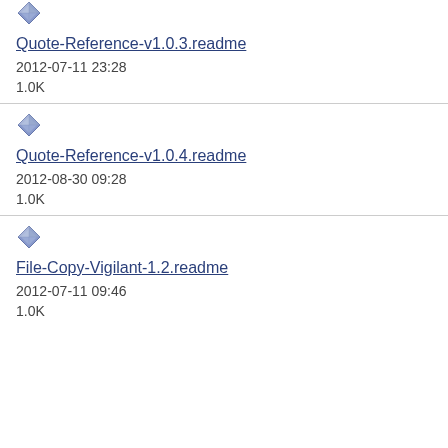[Figure (illustration): Diamond/gem icon for file entry 1 (partial, top cut off)]
Quote-Reference-v1.0.3.readme
2012-07-11 23:28
1.0K
[Figure (illustration): Diamond/gem icon for file entry 2]
Quote-Reference-v1.0.4.readme
2012-08-30 09:28
1.0K
[Figure (illustration): Diamond/gem icon for file entry 3]
File-Copy-Vigilant-1.2.readme
2012-07-11 09:46
1.0K